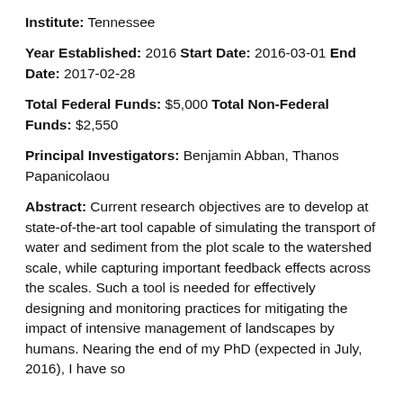Institute: Tennessee
Year Established: 2016 Start Date: 2016-03-01 End Date: 2017-02-28
Total Federal Funds: $5,000 Total Non-Federal Funds: $2,550
Principal Investigators: Benjamin Abban, Thanos Papanicolaou
Abstract: Current research objectives are to develop at state-of-the-art tool capable of simulating the transport of water and sediment from the plot scale to the watershed scale, while capturing important feedback effects across the scales. Such a tool is needed for effectively designing and monitoring practices for mitigating the impact of intensive management of landscapes by humans. Nearing the end of my PhD (expected in July, 2016), I have so